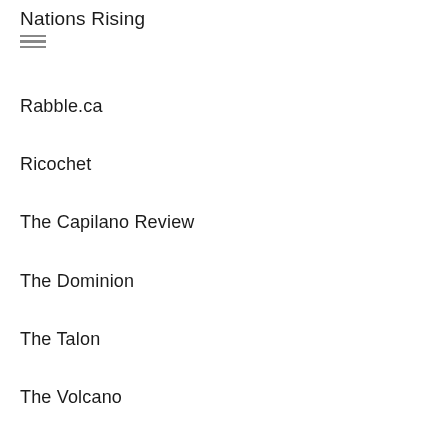Nations Rising
Rabble.ca
Ricochet
The Capilano Review
The Dominion
The Talon
The Volcano
Unceded Airwaves
Vancouver Media Co-op
Warrior Publications